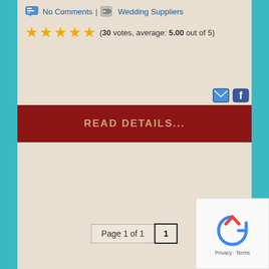No Comments | Wedding Suppliers
(30 votes, average: 5.00 out of 5)
READ DETAILS...
Page 1 of 1  1
Browse Categories
[Figure (other): reCAPTCHA widget with Privacy and Terms links]